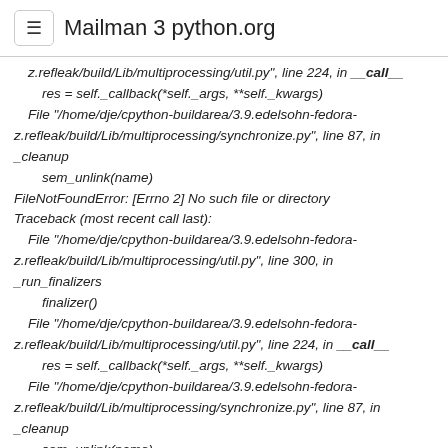≡ Mailman 3 python.org
z.refleak/build/Lib/multiprocessing/util.py", line 224, in __call__
    res = self._callback(*self._args, **self._kwargs)
  File "/home/dje/cpython-buildarea/3.9.edelsohn-fedora-z.refleak/build/Lib/multiprocessing/synchronize.py", line 87, in _cleanup
    sem_unlink(name)
FileNotFoundError: [Errno 2] No such file or directory
Traceback (most recent call last):
  File "/home/dje/cpython-buildarea/3.9.edelsohn-fedora-z.refleak/build/Lib/multiprocessing/util.py", line 300, in _run_finalizers
    finalizer()
  File "/home/dje/cpython-buildarea/3.9.edelsohn-fedora-z.refleak/build/Lib/multiprocessing/util.py", line 224, in __call__
    res = self._callback(*self._args, **self._kwargs)
  File "/home/dje/cpython-buildarea/3.9.edelsohn-fedora-z.refleak/build/Lib/multiprocessing/synchronize.py", line 87, in _cleanup
    sem_unlink(name)